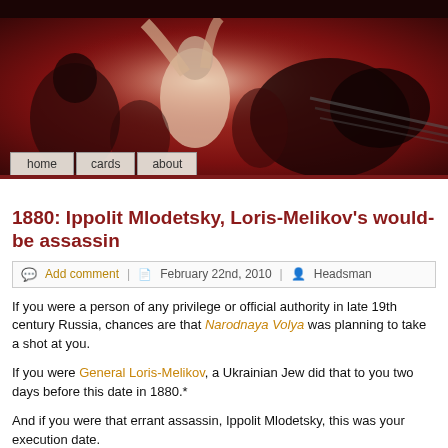[Figure (photo): Header image showing a dramatic painting of figures, red/brown tones, with navigation buttons 'home', 'cards', 'about' overlaid at bottom]
1880: Ippolit Mlodetsky, Loris-Melikov's would-be assassin
Add comment | February 22nd, 2010 | Headsman
If you were a person of any privilege or official authority in late 19th century Russia, chances are that Narodnaya Volya was planning to take a shot at you.
If you were General Loris-Melikov, a Ukrainian Jew did that to you two days before this date in 1880.*
And if you were that errant assassin, Ippolit Mlodetsky, this was your execution date.
Even though Melikov rated as something of a liberal on the Russian autocracy spectrum, he had no qualms about ordering legal proceedings barely this side of summary.